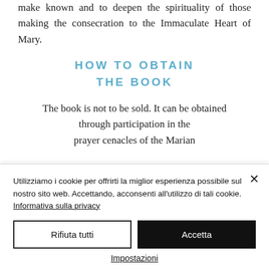make known and to deepen the spirituality of those making the consecration to the Immaculate Heart of Mary.
HOW TO OBTAIN THE BOOK
The book is not to be sold. It can be obtained through participation in the prayer cenacles of the Marian
Utilizziamo i cookie per offrirti la miglior esperienza possibile sul nostro sito web. Accettando, acconsenti all'utilizzo di tali cookie. Informativa sulla privacy
Rifiuta tutti
Accetta
Impostazioni